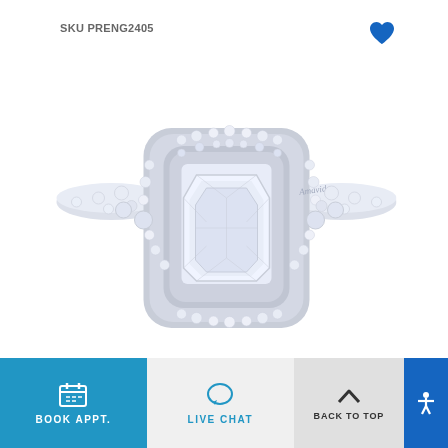SKU PRENG2405
[Figure (photo): Diamond engagement ring with emerald-cut center stone surrounded by double halo of pavé diamonds, with diamond-set band, Amavida brand engraved on shank]
BOOK APPT.  LIVE CHAT  BACK TO TOP